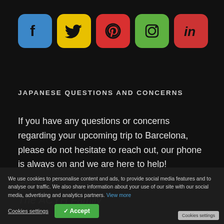[Figure (illustration): Row of five social media icons with rounded square backgrounds: Facebook (blue), Twitter (yellow), Pinterest (red), Instagram (green), LinkedIn (red)]
JAPANESE QUESTIONS AND CONCERNS
If you have any questions or concerns regarding your upcoming trip to Barcelona, please do not hesitate to reach out, our phone is always on and we are here to help!
Cheers,
The ACYH Family
We use cookies to personalise content and ads, to provide social media features and to analyse our traffic. We also share information about your use of our site with our social media, advertising and analytics partners. View more
Cookies settings   ✓ Accept   Cookies settings